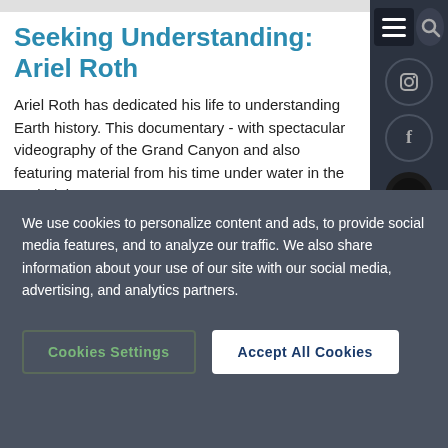Seeking Understanding: Ariel Roth
Ariel Roth has dedicated his life to understanding Earth history. This documentary - with spectacular videography of the Grand Canyon and also featuring material from his time under water in the Hydrolab...
[Figure (screenshot): Black video thumbnail/player area on a light gray background]
We use cookies to personalize content and ads, to provide social media features, and to analyze our traffic. We also share information about your use of our site with our social media, advertising, and analytics partners.